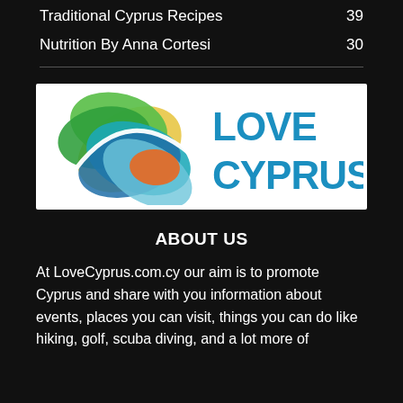Traditional Cyprus Recipes  39
Nutrition By Anna Cortesi  30
[Figure (logo): Love Cyprus logo: interlocking colorful ovals (green, teal, blue, orange, light blue) on the left, with bold blue text 'LOVE CYPRUS' on the right, on a white background.]
ABOUT US
At LoveCyprus.com.cy our aim is to promote Cyprus and share with you information about events, places you can visit, things you can do like hiking, golf, scuba diving, and a lot more of